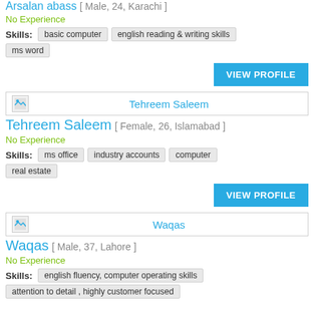Arsalan abass [ Male, 24, Karachi ]
No Experience
Skills: basic computer | english reading & writing skills | ms word
VIEW PROFILE
[Figure (other): Profile header bar for Tehreem Saleem with placeholder image]
Tehreem Saleem [ Female, 26, Islamabad ]
No Experience
Skills: ms office | industry accounts | computer | real estate
VIEW PROFILE
[Figure (other): Profile header bar for Waqas with placeholder image]
Waqas [ Male, 37, Lahore ]
No Experience
Skills: english fluency, computer operating skills | attention to detail , highly customer focused